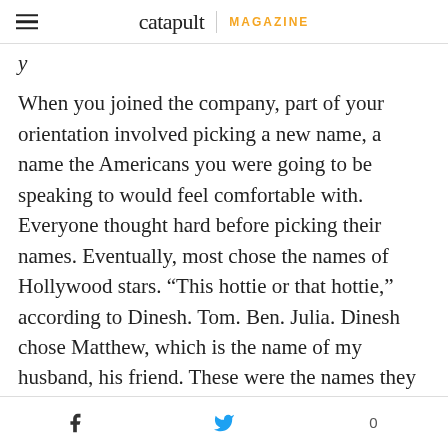catapult MAGAZINE
y
When you joined the company, part of your orientation involved picking a new name, a name the Americans you were going to be speaking to would feel comfortable with. Everyone thought hard before picking their names. Eventually, most chose the names of Hollywood stars. “This hottie or that hottie,” according to Dinesh. Tom. Ben. Julia. Dinesh chose Matthew, which is the name of my husband, his friend. These were the names they were registered with. As far as the company was concerned, their real names did not even exist.
f  🐦  0